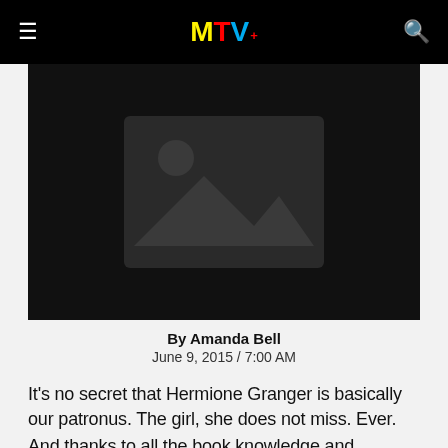MTV+
[Figure (photo): Dark placeholder image with a generic landscape/image icon in the center on a black background]
By Amanda Bell
June 9, 2015 / 7:00 AM
It's no secret that Hermione Granger is basically our patronus. The girl, she does not miss. Ever.
And thanks to all the book knowledge and fantastic life